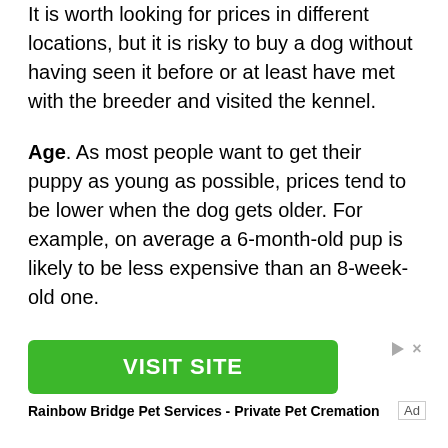It is worth looking for prices in different locations, but it is risky to buy a dog without having seen it before or at least have met with the breeder and visited the kennel.
Age. As most people want to get their puppy as young as possible, prices tend to be lower when the dog gets older. For example, on average a 6-month-old pup is likely to be less expensive than an 8-week-old one.
[Figure (infographic): Advertisement banner with a green 'VISIT SITE' button, ad control icons (play and close), and text 'Rainbow Bridge Pet Services - Private Pet Cremation'. An 'Ad' label appears at the bottom right.]